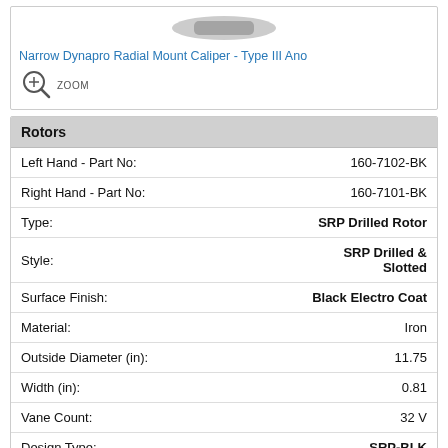[Figure (photo): Partial view of Narrow Dynapro Radial Mount Caliper - Type III Ano product image (cropped at top)]
Narrow Dynapro Radial Mount Caliper - Type III Ano
[Figure (illustration): Zoom icon with magnifying glass and 'ZOOM' label]
| Rotors |  |
| --- | --- |
| Left Hand - Part No: | 160-7102-BK |
| Right Hand - Part No: | 160-7101-BK |
| Type: | SRP Drilled Rotor |
| Style: | SRP Drilled & Slotted |
| Surface Finish: | Black Electro Coat |
| Material: | Iron |
| Outside Diameter (in): | 11.75 |
| Width (in): | 0.81 |
| Vane Count: | 32 V |
| Design Type: | SRP-BLK |
| Bedded: | No |
| Dynamically Balanced: | No |